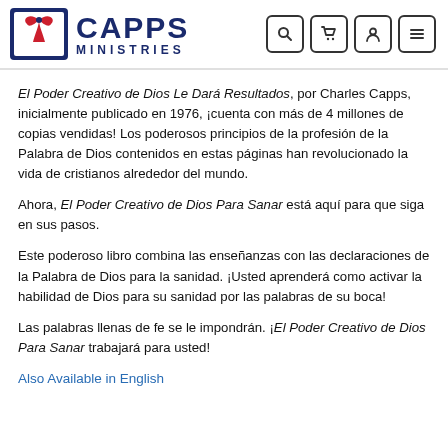[Figure (logo): Capps Ministries logo with red leaf/dove icon in dark blue square, and text CAPPS MINISTRIES in dark blue. Navigation icons for search, cart, user, and menu on the right.]
El Poder Creativo de Dios Le Dará Resultados, por Charles Capps, inicialmente publicado en 1976, ¡cuenta con más de 4 millones de copias vendidas! Los poderosos principios de la profesión de la Palabra de Dios contenidos en estas páginas han revolucionado la vida de cristianos alrededor del mundo.
Ahora, El Poder Creativo de Dios Para Sanar está aquí para que siga en sus pasos.
Este poderoso libro combina las enseñanzas con las declaraciones de la Palabra de Dios para la sanidad. ¡Usted aprenderá como activar la habilidad de Dios para su sanidad por las palabras de su boca!
Las palabras llenas de fe se le impondrán. ¡El Poder Creativo de Dios Para Sanar trabajará para usted!
Also Available in English